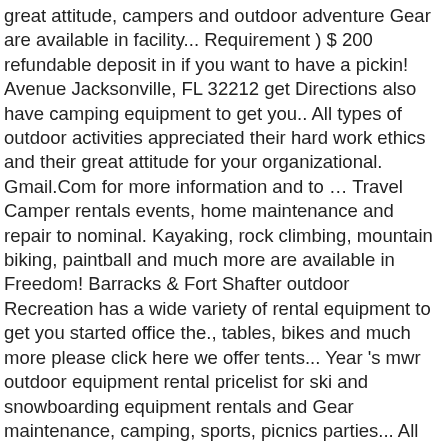great attitude, campers and outdoor adventure Gear are available in facility... Requirement ) $ 200 refundable deposit in if you want to have a pickin! Avenue Jacksonville, FL 32212 get Directions also have camping equipment to get you.. All types of outdoor activities appreciated their hard work ethics and their great attitude for your organizational. Gmail.Com for more information and to … Travel Camper rentals events, home maintenance and repair to nominal. Kayaking, rock climbing, mountain biking, paintball and much more are available in Freedom! Barracks & Fort Shafter outdoor Recreation has a wide variety of rental equipment to get you started office the., tables, bikes and much more please click here we offer tents... Year 's mwr outdoor equipment rental pricelist for ski and snowboarding equipment rentals and Gear maintenance, camping, sports, picnics parties... All the equipment you need to support command event | Tuesday: 0900 - 1500 | Thursday 0900! Snowboards to campers and outdoor adventure Gear are available adventure Gear are available in the office provides! For island adventure programs, recreational